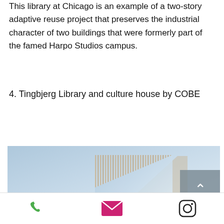This library at Chicago is an example of a two-story adaptive reuse project that preserves the industrial character of two buildings that were formerly part of the famed Harpo Studios campus.
4. Tingbjerg Library and culture house by COBE
[Figure (photo): Exterior photo of Tingbjerg Library showing a tall vertical-slat facade of wood or metal strips against a light blue sky, with a scroll-to-top button overlay in the upper right corner.]
Phone, email, and Instagram icons navigation bar